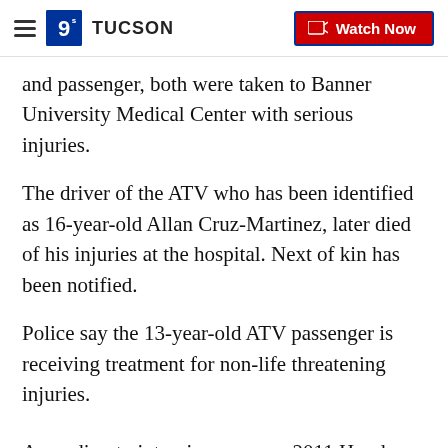KGUN 9 TUCSON — Watch Now
and passenger, both were taken to Banner University Medical Center with serious injuries.
The driver of the ATV who has been identified as 16-year-old Allan Cruz-Martinez, later died of his injuries at the hospital. Next of kin has been notified.
Police say the 13-year-old ATV passenger is receiving treatment for non-life threatening injuries.
According to interviews, a gray 2011 Honda Accord was traveling westbound on Michigan Drive.
Police say the Honda stopped at the stop sign at the